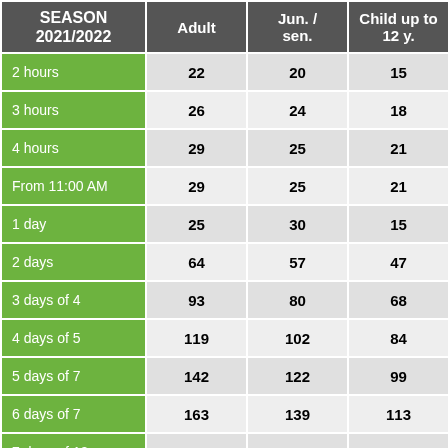| SEASON 2021/2022 | Adult | Jun. / sen. | Child up to 12 y. |
| --- | --- | --- | --- |
| 2 hours | 22 | 20 | 15 |
| 3 hours | 26 | 24 | 18 |
| 4 hours | 29 | 25 | 21 |
| From 11:00 AM | 29 | 25 | 21 |
| 1 day | 25 | 30 | 15 |
| 2 days | 64 | 57 | 47 |
| 3 days of 4 | 93 | 80 | 68 |
| 4 days of 5 | 119 | 102 | 84 |
| 5 days of 7 | 142 | 122 | 99 |
| 6 days of 7 | 163 | 139 | 113 |
| 7 days of 10 | 181 | 155 | 125 |
| … |  |  |  |